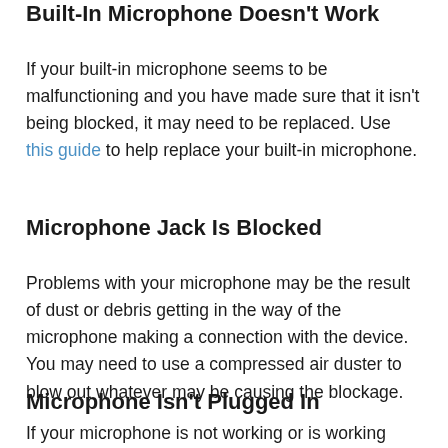Built-In Microphone Doesn't Work
If your built-in microphone seems to be malfunctioning and you have made sure that it isn't being blocked, it may need to be replaced. Use this guide to help replace your built-in microphone.
Microphone Jack Is Blocked
Problems with your microphone may be the result of dust or debris getting in the way of the microphone making a connection with the device. You may need to use a compressed air duster to blow out whatever may be causing the blockage.
Microphone Isn't Plugged In
If your microphone is not working or is working poorly